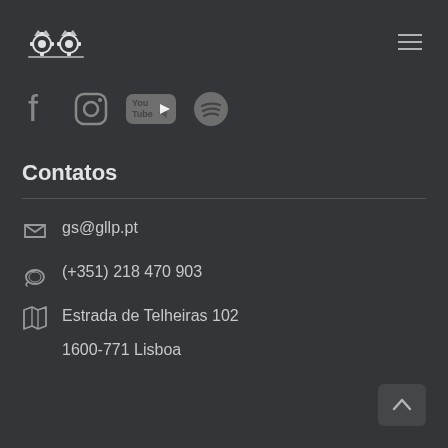[Figure (logo): Ornate gear/crown logo in white on dark background]
[Figure (infographic): Social media icons: Facebook, Instagram, YouTube, Spotify]
Contatos
gs@gllp.pt
(+351) 218 470 903
Estrada de Telheiras 102
1600-771 Lisboa